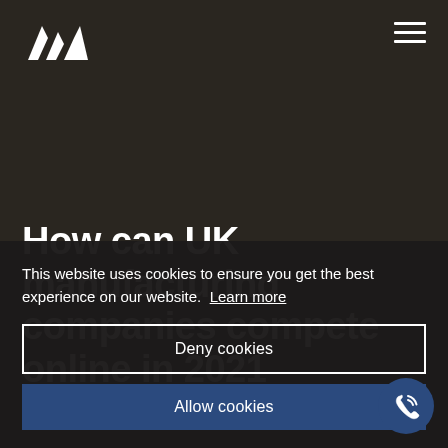[Figure (logo): White angular letter M logo (Adidas-style triple chevron) on dark background]
How can UK manufacturing companies compete online in 2021
This website uses cookies to ensure you get the best experience on our website. Learn more
Deny cookies
Allow cookies